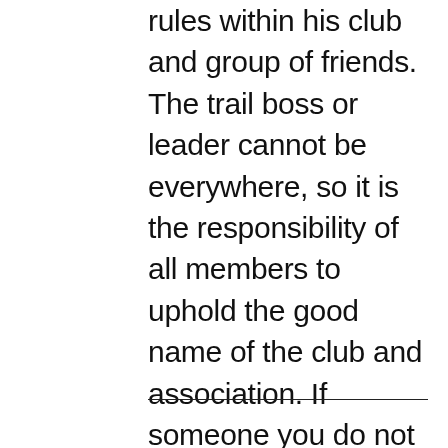rules within his club and group of friends. The trail boss or leader cannot be everywhere, so it is the responsibility of all members to uphold the good name of the club and association. If someone you do not know is breaking these rules, politely ask them to stop and give them a copy of these rules. If they continue, record their license plate number and report them to the trail boss or appropriate law enforcement.